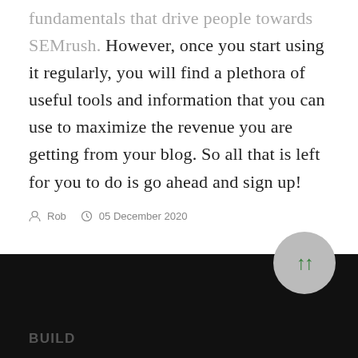fundamentals that drive people towards SEMrush. However, once you start using it regularly, you will find a plethora of useful tools and information that you can use to maximize the revenue you are getting from your blog. So all that is left for you to do is go ahead and sign up!
Rob   05 December 2020
BUILD